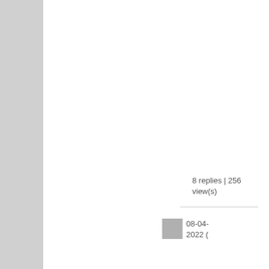8 replies | 256 view(s)
08-04-2022 (